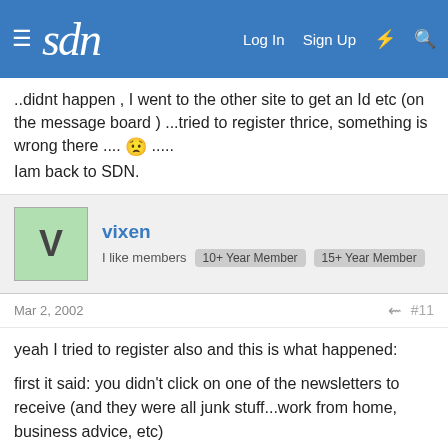sdn | Log In | Sign Up
..didnt happen , I went to the other site to get an Id etc (on the message board ) ...tried to register thrice, something is wrong there .... 😟 ..... Iam back to SDN.
vixen | I like members | 10+ Year Member | 15+ Year Member
Mar 2, 2002 | #11
yeah I tried to register also and this is what happened:

first it said: you didn't click on one of the newsletters to receive (and they were all junk stuff...work from home, business advice, etc)

then when I did click on something, it was taking forever to confirm, so I closed it...I tried more than once, and it was taking